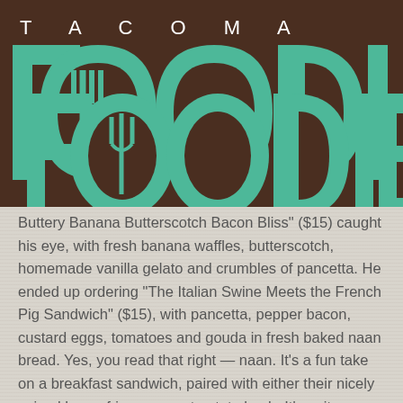[Figure (logo): Tacoma Foodie logo: dark brown header bar with 'TACOMA' in white spaced letters above 'FOODIE' in large teal/green bold letters with fork icon incorporated into the letters]
Buttery Banana Butterscotch Bacon Bliss" ($15) caught his eye, with fresh banana waffles, butterscotch, homemade vanilla gelato and crumbles of pancetta. He ended up ordering “The Italian Swine Meets the French Pig Sandwich” ($15), with pancetta, pepper bacon, custard eggs, tomatoes and gouda in fresh baked naan bread. Yes, you read that right — naan. It’s a fun take on a breakfast sandwich, paired with either their nicely spiced home fries or sweet potato hash. It’s quite a hearty portion, and I didn’t think he’d be able to finish it, but in his words, “he couldn’t resist the harmony of flavors”. (I might be rubbing off on him a little too much. Do I sense a food writer in the making?)